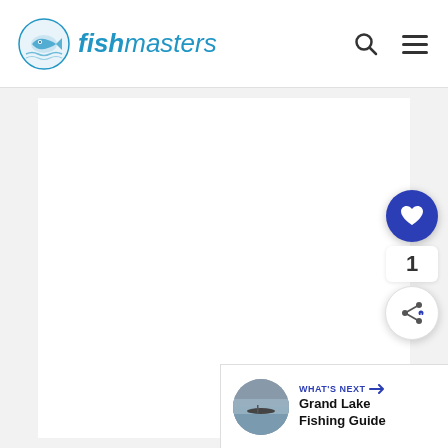fishmasters
[Figure (screenshot): Fishmasters website screenshot showing a white content area, a like button (heart icon, dark blue circle), a count of 1, a share button, and a 'What's Next' navigation bar at the bottom right showing 'Grand Lake Fishing Guide']